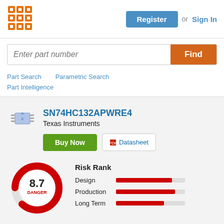[Figure (logo): Orange grid/matrix logo icon]
Register or Sign In
Enter part number
Find
Part Search
Parametric Search
Part Intelligence
SN74HC132APWRE4
Texas Instruments
Buy Now
Datasheet
[Figure (donut-chart): Risk rank donut chart showing 8.7 DANGER in red and light gray]
Risk Rank
Design
Production
Long Term